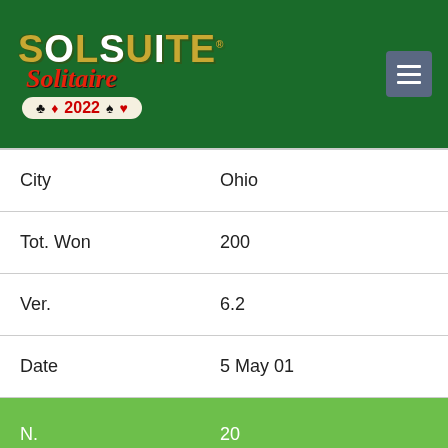[Figure (logo): SolSuite Solitaire 2022 logo on green background with menu button]
| Field | Value |
| --- | --- |
| City | Ohio |
| Tot. Won | 200 |
| Ver. | 6.2 |
| Date | 5 May 01 |
| N. | 20 |
| Name | ted |